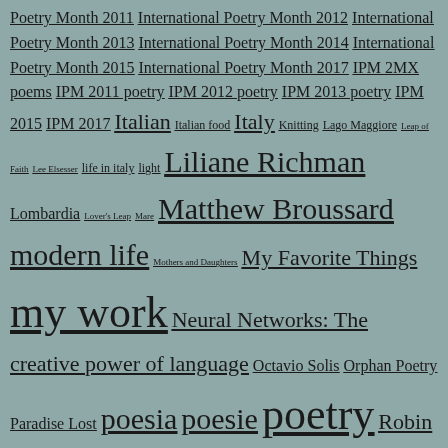Poetry Month 2011 International Poetry Month 2012 International Poetry Month 2013 International Poetry Month 2014 International Poetry Month 2015 International Poetry Month 2017 IPM 2MX poems IPM 2011 poetry IPM 2012 poetry IPM 2013 poetry IPM 2015 IPM 2017 Italian Italian food Italy Knitting Lago Maggiore Leap of Faith Lee Elsesser life in italy light Liliane Richman Lombardia Lover's Leap Mare Matthew Broussard modern life Mothers and Daughters My Favorite Things my work Neural Networks: The creative power of language Octavio Solis Orphan Poetry Paradise Lost poesia poesie poetry Robin Kay Broussard Sicilian Suite Spring in Lombardia spring time Somethingelse T...